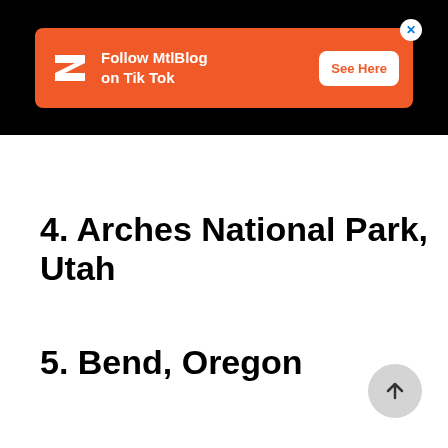[Figure (screenshot): Orange advertisement banner for MtlBlog TikTok with logo, text and 'See Here' button, on black background]
4. Arches National Park, Utah
5. Bend, Oregon